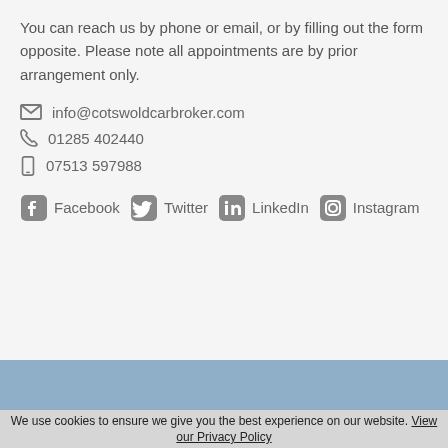You can reach us by phone or email, or by filling out the form opposite. Please note all appointments are by prior arrangement only.
info@cotswoldcarbroker.com
01285 402440
07513 597988
Facebook
Twitter
LinkedIn
Instagram
We use cookies to ensure we give you the best experience on our website. View our Privacy Policy